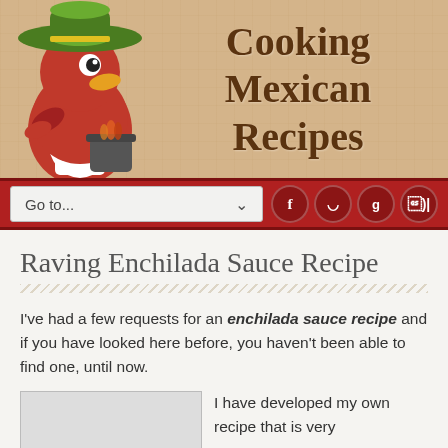[Figure (illustration): Website header with a cartoon red bird mascot wearing a sombrero and holding a cooking pot, on a wood-grain background]
Cooking Mexican Recipes
[Figure (screenshot): Navigation bar with 'Go to...' dropdown and social media icons (Facebook, Pinterest, Google+, Twitter) on red background]
Raving Enchilada Sauce Recipe
I've had a few requests for an enchilada sauce recipe and if you have looked here before, you haven't been able to find one, until now.
I have developed my own recipe that is very